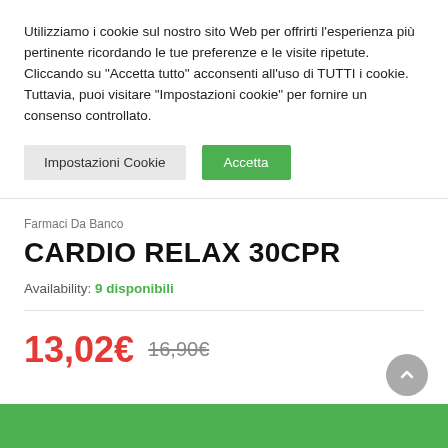Utilizziamo i cookie sul nostro sito Web per offrirti l'esperienza più pertinente ricordando le tue preferenze e le visite ripetute. Cliccando su "Accetta tutto" acconsenti all'uso di TUTTI i cookie. Tuttavia, puoi visitare "Impostazioni cookie" per fornire un consenso controllato.
Impostazioni Cookie
Accetta
Farmaci Da Banco
CARDIO RELAX 30CPR
Availability: 9 disponibili
13,02€  16,90€